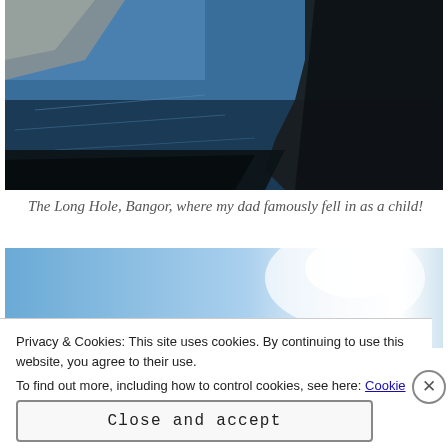[Figure (photo): Photograph of the Long Hole, Bangor — a rocky coastal inlet with blue water and a stone/rock wall along the right side, taken from an elevated angle.]
The Long Hole, Bangor, where my dad famously fell in as a child!
[Figure (photo): Partial photograph showing a blue sky with bright white light/sun in the upper portion.]
Privacy & Cookies: This site uses cookies. By continuing to use this website, you agree to their use.
To find out more, including how to control cookies, see here: Cookie Policy
Close and accept